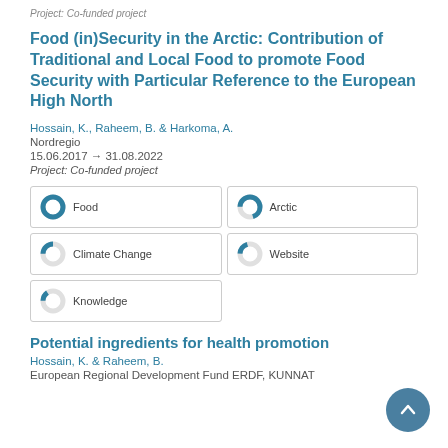Project: Co-funded project
Food (in)Security in the Arctic: Contribution of Traditional and Local Food to promote Food Security with Particular Reference to the European High North
Hossain, K., Raheem, B. & Harkoma, A.
Nordregio
15.06.2017 → 31.08.2022
Project: Co-funded project
[Figure (infographic): Tag/keyword badges with donut-style completion icons: Food (100%), Arctic (70%), Climate Change (25%), Website (20%), Knowledge (15%)]
Potential ingredients for health promotion
Hossain, K. & Raheem, B.
European Regional Development Fund ERDF, KUNNAT